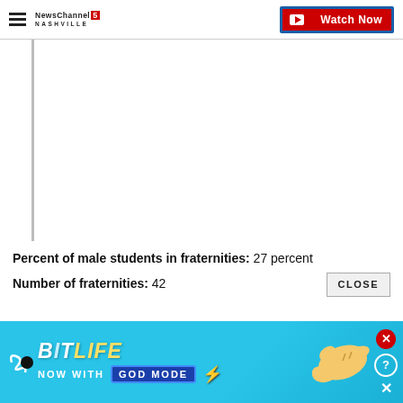NewsChannel 5 Nashville | Watch Now
[Figure (other): Blank white content area with left border line, likely a video or image placeholder]
Percent of male students in fraternities: 27 percent
Number of fraternities: 42
[Figure (illustration): BitLife mobile game advertisement banner with 'NOW WITH GOD MODE' text, pointing hand illustration, close and help icons on a blue background]